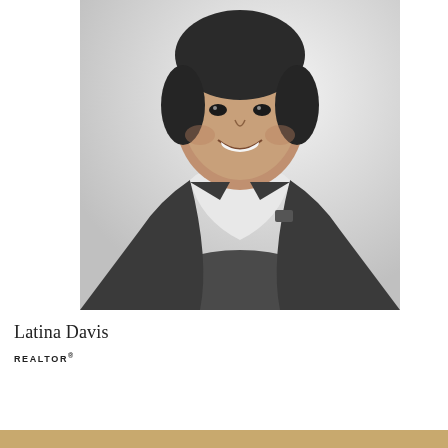[Figure (photo): Black and white professional headshot of Latina Davis, a woman wearing a dark blazer over a white v-neck top, smiling, with short dark hair, photographed against a light background.]
Latina Davis
REALTOR®